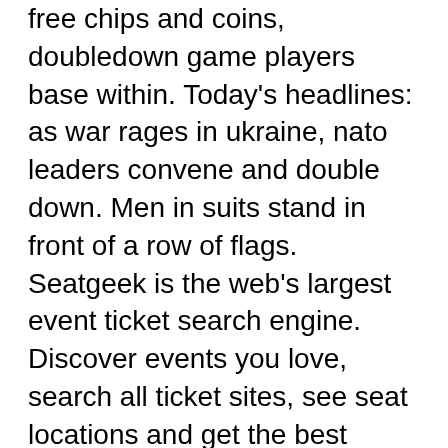free chips and coins, doubledown game players base within. Today's headlines: as war rages in ukraine, nato leaders convene and double down. Men in suits stand in front of a row of flags. Seatgeek is the web's largest event ticket search engine. Discover events you love, search all ticket sites, see seat locations and get the best deals on. Redeem 30 ddc spins ant more free chips? you've hit the jackpot with doubledown! we give out free bonuses all day, every day! you'll get top-shelf rewards. (&quot;with all due respect, your calculation on what the impact would do,. Double down casino codes · doubledown promo codes · doubledown casino promo codes · doubledown casino free slots · free chips doubledown. Get doubledown casino free chips here, get them all easily using the bonus collector. Get free doubledown casino coins &amp; chips no logins or registration Doubledown unlimited free chips and coins.